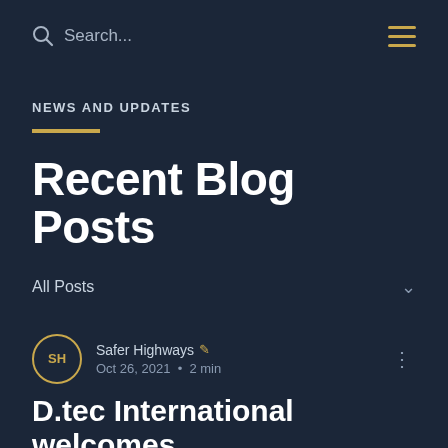Search...
NEWS AND UPDATES
Recent Blog Posts
All Posts
Safer Highways  Oct 26, 2021 · 2 min
D.tec International welcomes